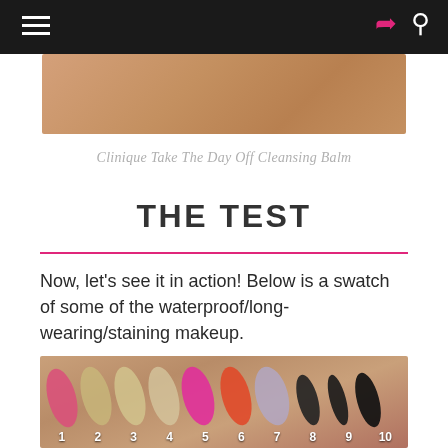Navigation bar with hamburger menu, share icon, and search icon
[Figure (photo): Close-up photo of skin with product swatch, showing the Clinique Take The Day Off Cleansing Balm applied]
Clinique Take The Day Off Cleansing Balm
THE TEST
Now, let's see it in action! Below is a swatch of some of the waterproof/long-wearing/staining makeup.
[Figure (photo): Swatches numbered 1 through 10 of various waterproof/long-wearing/staining makeup products on skin. Colors include: pink/red (1), champagne/gold (2,3,4), hot pink (5), orange-red (6), silver/lavender glitter (7), dark/black (8,9,10)]